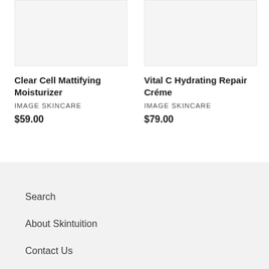[Figure (photo): Product image placeholder for Clear Cell Mattifying Moisturizer, light gray background]
[Figure (photo): Product image placeholder for Vital C Hydrating Repair Crème, light gray background]
Clear Cell Mattifying Moisturizer
IMAGE SKINCARE
$59.00
Vital C Hydrating Repair Créme
IMAGE SKINCARE
$79.00
Search
About Skintuition
Contact Us